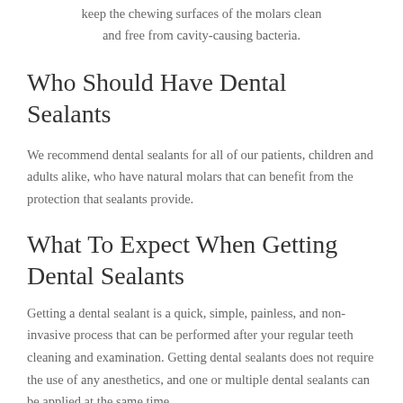keep the chewing surfaces of the molars clean and free from cavity-causing bacteria.
Who Should Have Dental Sealants
We recommend dental sealants for all of our patients, children and adults alike, who have natural molars that can benefit from the protection that sealants provide.
What To Expect When Getting Dental Sealants
Getting a dental sealant is a quick, simple, painless, and non-invasive process that can be performed after your regular teeth cleaning and examination. Getting dental sealants does not require the use of any anesthetics, and one or multiple dental sealants can be applied at the same time.